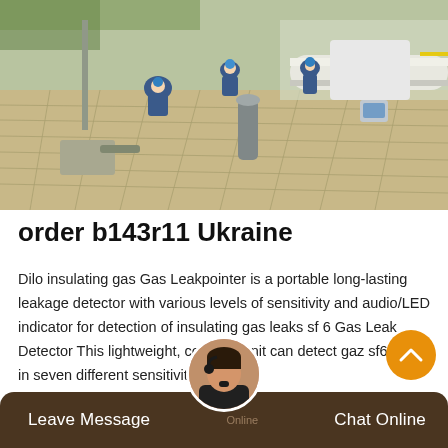[Figure (photo): Industrial workers in blue coveralls and hard hats working at an outdoor gas/electrical facility with large pipes and equipment on a tiled floor surface]
order b143r11 Ukraine
Dilo insulating gas Gas Leakpointer is a portable long-lasting leakage detector with various levels of sensitivity and audio/LED indicator for detection of insulating gas leaks sf 6 Gas Leak Detector This lightweight, cordless unit can detect gaz sf6 leaks in seven different sensitivity levels